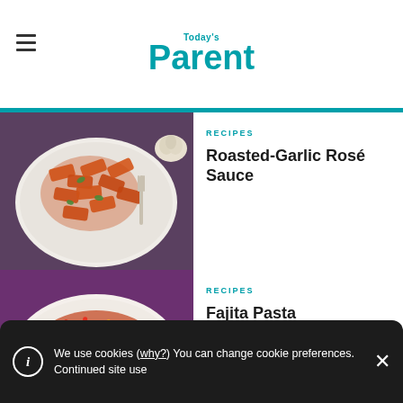Today's Parent
RECIPES
Roasted-Garlic Rosé Sauce
[Figure (photo): Plate of rigatoni pasta with roasted-garlic rosé sauce, garnished with herbs, with a fork and garlic bulb visible]
RECIPES
Fajita Pasta
[Figure (photo): Pan of fajita pasta with colorful bell pepper strips (red, yellow, green), chicken, and tomato sauce]
We use cookies (why?) You can change cookie preferences. Continued site use